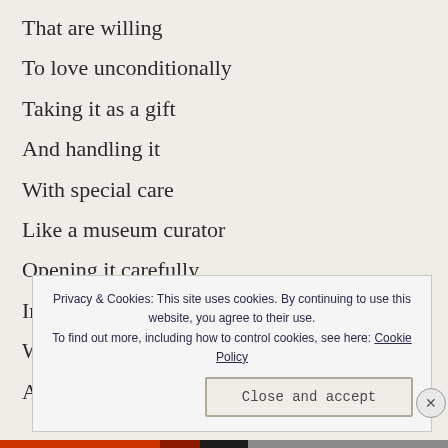That are willing
To love unconditionally
Taking it as a gift
And handling it
With special care
Like a museum curator
Opening it carefully
In a white room
With white gloves
Avoiding
Privacy & Cookies: This site uses cookies. By continuing to use this website, you agree to their use. To find out more, including how to control cookies, see here: Cookie Policy
Close and accept